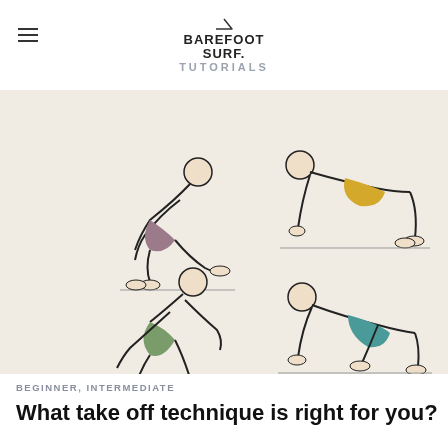BAREFOOT SURF. TUTORIALS
[Figure (illustration): Four illustrated figures showing different surfing take-off technique positions: top-left figure in kneeling/crawling position with purple shorts; top-right figure in push-up/plank position with yellow shorts; bottom-left figure in squat/crouch position with green shorts; bottom-right figure in low crawl/extension position with teal shorts. All figures wear black tops and are drawn in a minimal line-art style on a beige background.]
BEGINNER, INTERMEDIATE
What take off technique is right for you?